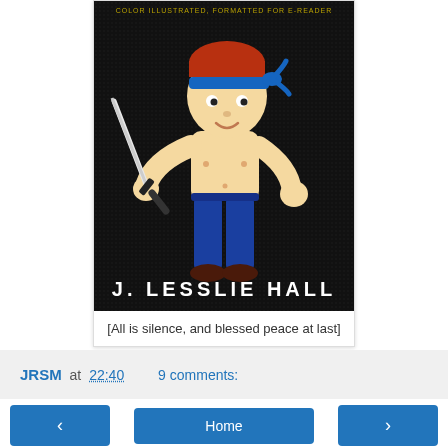[Figure (illustration): Book cover with black background showing a cartoon character — a shirtless boy with red hair wearing a blue headband, holding a sword/katana, wearing blue pants and dark shoes. At the bottom of the cover in white text: 'J. LESSLIE HALL'. At the top faint yellow text partially visible.]
[All is silence, and blessed peace at last]
JRSM at 22:40   9 comments:
Home